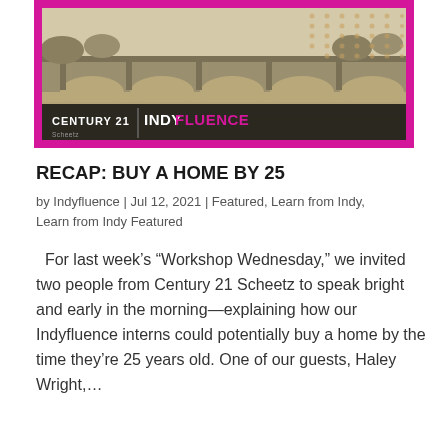[Figure (photo): Photo of a bridge over water with a sepia/vintage tone, framed with a magenta/pink border. Overlay bar at bottom shows CENTURY 21 | INDYFLUENCE branding text.]
RECAP: BUY A HOME BY 25
by Indyfluence | Jul 12, 2021 | Featured, Learn from Indy, Learn from Indy Featured
For last week's “Workshop Wednesday,” we invited two people from Century 21 Scheetz to speak bright and early in the morning—explaining how our Indyfluence interns could potentially buy a home by the time they’re 25 years old. One of our guests, Haley Wright,...